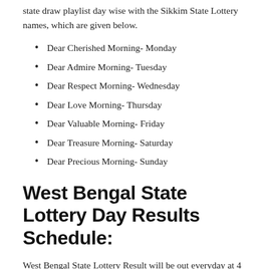state draw playlist day wise with the Sikkim State Lottery names, which are given below.
Dear Cherished Morning- Monday
Dear Admire Morning- Tuesday
Dear Respect Morning- Wednesday
Dear Love Morning- Thursday
Dear Valuable Morning- Friday
Dear Treasure Morning- Saturday
Dear Precious Morning- Sunday
West Bengal State Lottery Day Results Schedule:
West Bengal State Lottery Result will be out everyday at 4 PM in the evening. Check the West Bengal state draw playlist day wise with the West Bengal State Lottery